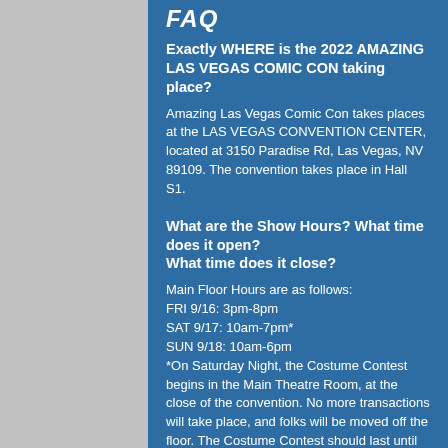FAQ
Exactly WHERE is the 2022 AMAZING LAS VEGAS COMIC CON taking place?
Amazing Las Vegas Comic Con takes places at the LAS VEGAS CONVENTION CENTER, located at 3150 Paradise Rd, Las Vegas, NV 89109. The convention takes place in Hall S1.
What are the Show Hours? What time does it open? What time does it close?
Main Floor Hours are as follows:
FRI 9/16: 3pm-8pm
SAT 9/17: 10am-7pm*
SUN 9/18: 10am-6pm
*On Saturday Night, the Costume Contest begins in the Main Theatre Room, at the close of the convention. No more transactions will take place, and folks will be moved off the floor. The Costume Contest should last until approximately 8:30pm
I already Purchased my ticket